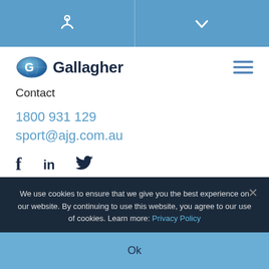Phone icon | Chevron down icon
[Figure (logo): Gallagher logo with globe icon and company name text]
Contact
1800 931 129
sport@ajg.com.au
[Figure (infographic): Social media icons: Facebook, LinkedIn, Twitter]
We use cookies to ensure that we give you the best experience on our website. By continuing to use this website, you agree to our use of cookies. Learn more: Privacy Policy
Ok